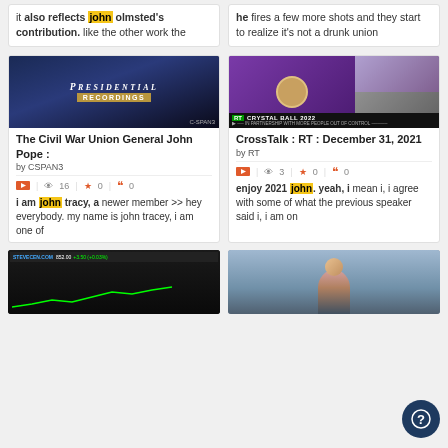it also reflects john olmsted's contribution. like the other work the
he fires a few more shots and they start to realize it's not a drunk union
[Figure (screenshot): CSPAN3 Presidential Recordings thumbnail]
[Figure (screenshot): RT CrossTalk Crystal Ball 2022 thumbnail with host and guests]
The Civil War Union General John Pope :
by CSPAN3
16 views, 0 favorites, 0 quotes
CrossTalk : RT : December 31, 2021
by RT
3 views, 0 favorites, 0 quotes
i am john tracy, a newer member >> hey everybody. my name is john tracey, i am one of
enjoy 2021 john. yeah, i mean i, i agree with some of what the previous speaker said i, i am on
[Figure (screenshot): Stock market news partial thumbnail]
[Figure (screenshot): Female news anchor partial thumbnail]